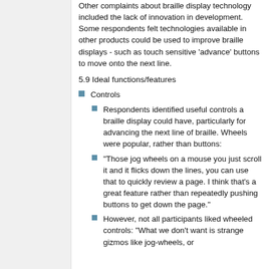Other complaints about braille display technology included the lack of innovation in development. Some respondents felt technologies available in other products could be used to improve braille displays - such as touch sensitive 'advance' buttons to move onto the next line.
5.9 Ideal functions/features
Controls
Respondents identified useful controls a braille display could have, particularly for advancing the next line of braille. Wheels were popular, rather than buttons:
“Those jog wheels on a mouse you just scroll it and it flicks down the lines, you can use that to quickly review a page. I think that's a great feature rather than repeatedly pushing buttons to get down the page.”
However, not all participants liked wheeled controls: "What we don't want is strange gizmos like jog-wheels, or